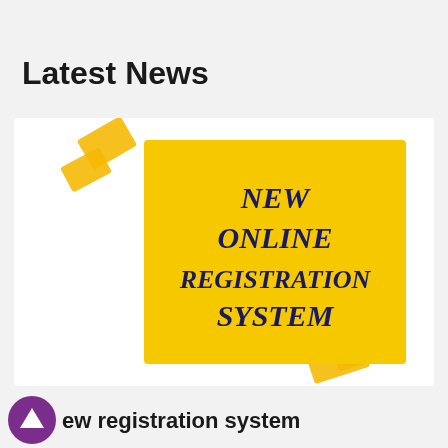Latest News
[Figure (illustration): Yellow sticky note pinned with gold tape pieces reading 'NEW ONLINE REGISTRATION SYSTEM' in dark navy serif bold italic text, on a white card background]
ew registration system